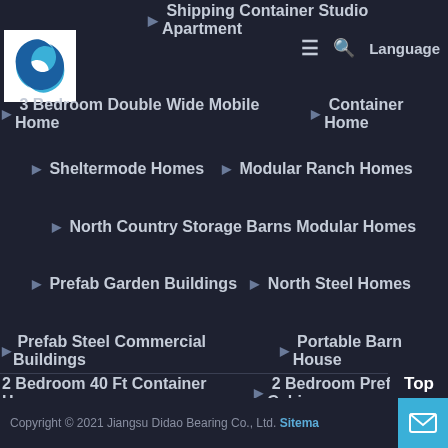[Figure (logo): Blue swirl logo on white background for Jiangsu Didao Bearing Co., Ltd.]
Shipping Container Studio Apartment
≡  🔍  Language
3 Bedroom Double Wide Mobile Home  ▶  Container Home
▶  Sheltermode Homes  ▶  Modular Ranch Homes
▶  North Country Storage Barns Modular Homes
▶  Prefab Garden Buildings  ▶  North Steel Homes
▶  Prefab Steel Commercial Buildings  ▶  Portable Barn House
2 Bedroom 40 Ft Container Home  ▶  2 Bedroom Prefab Cabin
▶  3 Bed Modular House  ▶  Modular Steel Structure
Copyright © 2021 Jiangsu Didao Bearing Co., Ltd. Sitemap